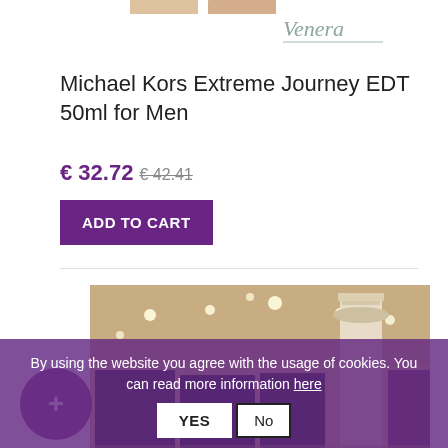[Figure (logo): Venera brand logo in cursive script]
Michael Kors Extreme Journey EDT 50ml for Men
€ 32.72  € 42.41 (strikethrough)
ADD TO CART
[Figure (photo): Interior of a luxury perfume store with ornate white columns, warm ceiling lights, and product displays on walls]
By using the website you agree with the usage of cookies. You can read more information here
YES  No